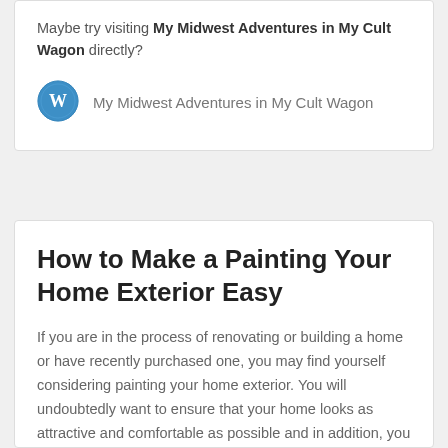Maybe try visiting My Midwest Adventures in My Cult Wagon directly?
[Figure (logo): WordPress logo icon — blue circle with white W]
My Midwest Adventures in My Cult Wagon
How to Make a Painting Your Home Exterior Easy
If you are in the process of renovating or building a home or have recently purchased one, you may find yourself considering painting your home exterior. You will undoubtedly want to ensure that your home looks as attractive and comfortable as possible and in addition, you will want to make it as easy as possible … Continue reading